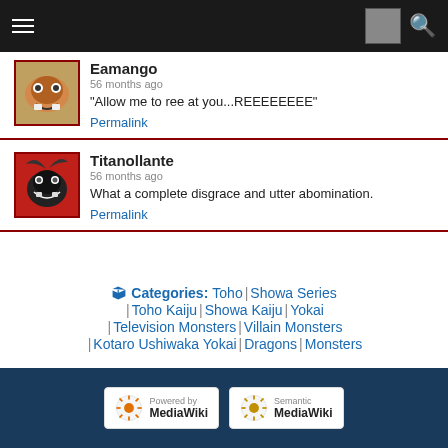Navigation bar with menu, avatar, and search
Eamango
56 months ago
"Allow me to ree at you...REEEEEEEE"
Permalink
Titanollante
56 months ago
What a complete disgrace and utter abomination.
Permalink
Categories: Toho | Showa Series | Toho Kaiju | Showa Kaiju | Yokai | Television Monsters | Villain Monsters | Kotaro Ushiwaka Yokai | Dragons | Monsters
Powered by MediaWiki | Semantic MediaWiki